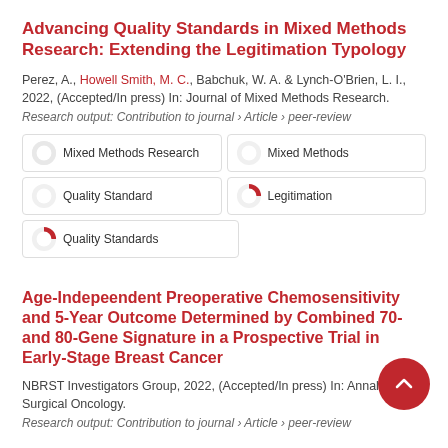Advancing Quality Standards in Mixed Methods Research: Extending the Legitimation Typology
Perez, A., Howell Smith, M. C., Babchuk, W. A. & Lynch-O'Brien, L. I., 2022, (Accepted/In press) In: Journal of Mixed Methods Research.
Research output: Contribution to journal › Article › peer-review
100% Mixed Methods Research
100% Mixed Methods
100% Quality Standard
66% Legitimation
66% Quality Standards
Age-Indepeendent Preoperative Chemosensitivity and 5-Year Outcome Determined by Combined 70- and 80-Gene Signature in a Prospective Trial in Early-Stage Breast Cancer
NBRST Investigators Group, 2022, (Accepted/In press) In: Annals of Surgical Oncology.
Research output: Contribution to journal › Article › peer-review